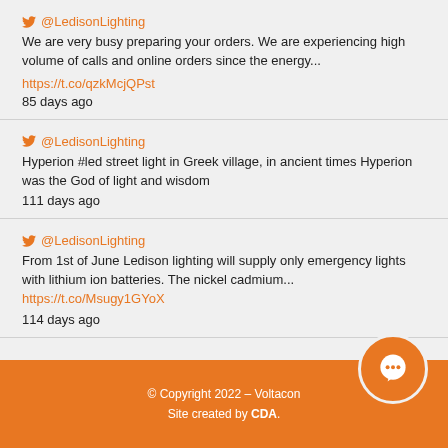@LedisonLighting — We are very busy preparing your orders. We are experiencing high volume of calls and online orders since the energy... https://t.co/qzkMcjQPst 85 days ago
@LedisonLighting — Hyperion #led street light in Greek village, in ancient times Hyperion was the God of light and wisdom 111 days ago
@LedisonLighting — From 1st of June Ledison lighting will supply only emergency lights with lithium ion batteries. The nickel cadmium... https://t.co/Msugy1GYoX 114 days ago
© Copyright 2022 – Voltacon Site created by CDA.